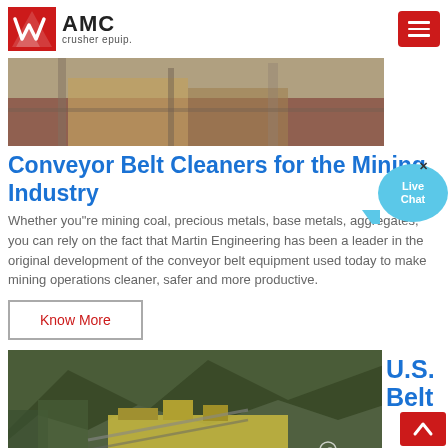AMC crusher epuip.
[Figure (photo): Photo of industrial conveyor belt equipment structure indoors, brownish tones]
Conveyor Belt Cleaners for the Mining Industry
Whether you"re mining coal, precious metals, base metals, aggregates, you can rely on the fact that Martin Engineering has been a leader in the original development of the conveyor belt equipment used today to make mining operations cleaner, safer and more productive.
Know More
[Figure (photo): Photo of open pit mining quarry with machinery in mountainous setting]
U.S. Belt